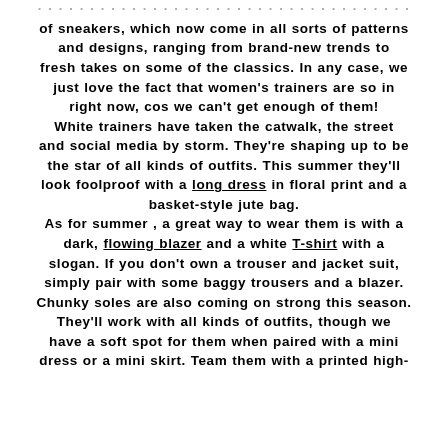The latest trends have revolutionised the concept of sneakers, which now come in all sorts of patterns and designs, ranging from brand-new trends to fresh takes on some of the classics. In any case, we just love the fact that women's trainers are so in right now, cos we can't get enough of them! White trainers have taken the catwalk, the street and social media by storm. They're shaping up to be the star of all kinds of outfits. This summer they'll look foolproof with a long dress in floral print and a basket-style jute bag. As for summer , a great way to wear them is with a dark, flowing blazer and a white T-shirt with a slogan. If you don't own a trouser and jacket suit, simply pair with some baggy trousers and a blazer. Chunky soles are also coming on strong this season. They'll work with all kinds of outfits, though we have a soft spot for them when paired with a mini dress or a mini skirt. Team them with a printed high-